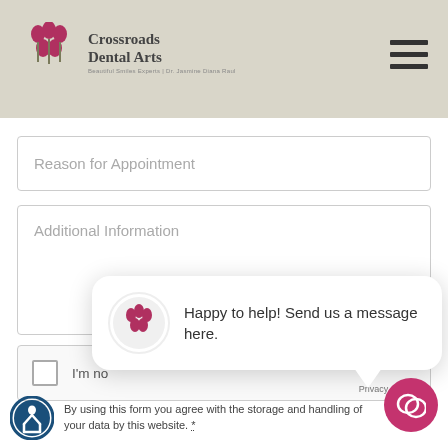[Figure (logo): Crossroads Dental Arts logo with stylized red flowers and text]
Reason for Appointment
Additional Information
I'm no...
Privacy · Terms
[Figure (screenshot): Chat popup: Happy to help! Send us a message here. with Crossroads Dental Arts logo and chat button]
By using this form you agree with the storage and handling of your data by this website. *